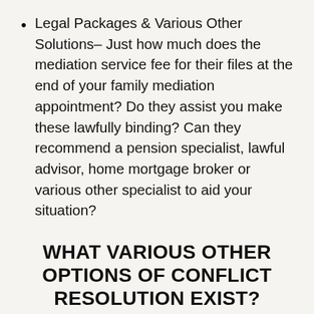Legal Packages & Various Other Solutions– Just how much does the mediation service fee for their files at the end of your family mediation appointment? Do they assist you make these lawfully binding? Can they recommend a pension specialist, lawful advisor, home mortgage broker or various other specialist to aid your situation?
WHAT VARIOUS OTHER OPTIONS OF CONFLICT RESOLUTION EXIST?
There are 10 techniques to resolve a dispute on your separation or separation. You can watch